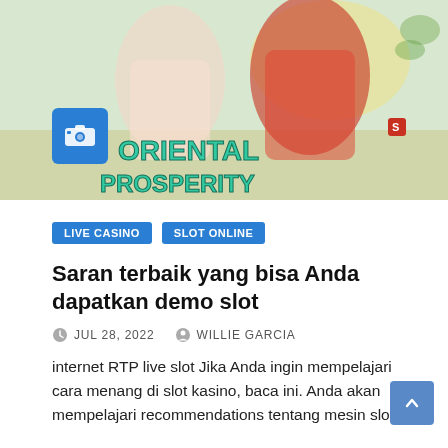[Figure (illustration): Oriental Prosperity slot game promotional image with anime-style characters and teal graffiti-style title text. A blue camera icon button is visible on the left side.]
LIVE CASINO
SLOT ONLINE
Saran terbaik yang bisa Anda dapatkan demo slot
JUL 28, 2022   WILLIE GARCIA
internet RTP live slot Jika Anda ingin mempelajari cara menang di slot kasino, baca ini. Anda akan mempelajari recommendations tentang mesin slot